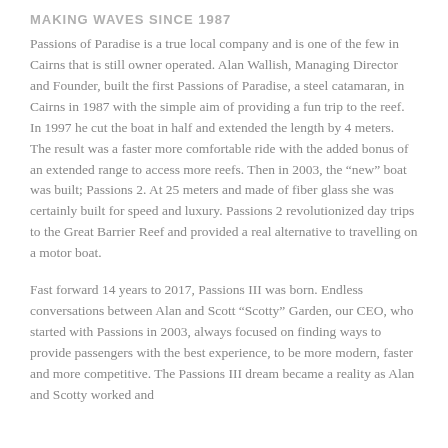MAKING WAVES SINCE 1987
Passions of Paradise is a true local company and is one of the few in Cairns that is still owner operated. Alan Wallish, Managing Director and Founder, built the first Passions of Paradise, a steel catamaran, in Cairns in 1987 with the simple aim of providing a fun trip to the reef. In 1997 he cut the boat in half and extended the length by 4 meters. The result was a faster more comfortable ride with the added bonus of an extended range to access more reefs. Then in 2003, the “new” boat was built; Passions 2. At 25 meters and made of fiber glass she was certainly built for speed and luxury. Passions 2 revolutionized day trips to the Great Barrier Reef and provided a real alternative to travelling on a motor boat.
Fast forward 14 years to 2017, Passions III was born. Endless conversations between Alan and Scott “Scotty” Garden, our CEO, who started with Passions in 2003, always focused on finding ways to provide passengers with the best experience, to be more modern, faster and more competitive. The Passions III dream became a reality as Alan and Scotty worked and